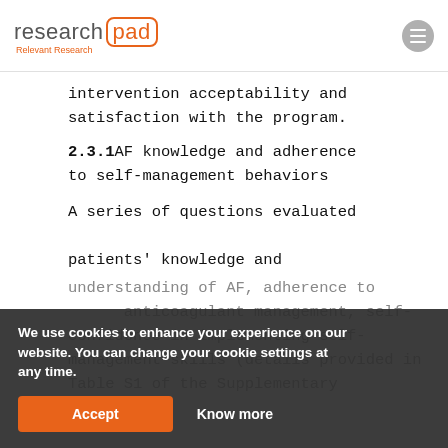research pad - Relevant Research
intervention acceptability and satisfaction with the program.
2.3.1 AF knowledge and adherence to self-management behaviors
A series of questions evaluated patients' knowledge and understanding of AF, adherence to anticoagulant management, self-confidence in implementing self-management skills (details provided in Table S1 of the Supplementary
We use cookies to enhance your experience on our website. You can change your cookie settings at any time.